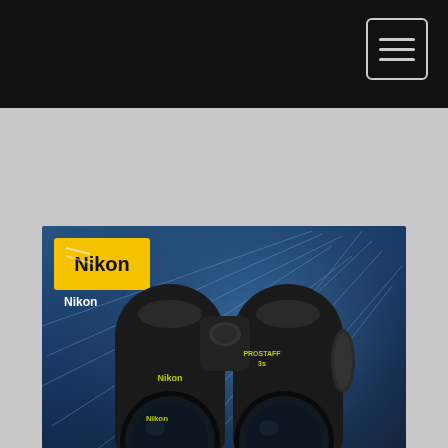[Figure (photo): Product photo of a Nikon PROSTAFF 3s binoculars retail box. The box has a dark blue background with radiating light rays, features the Nikon logo in a yellow rectangle in the upper left, shows a large image of black binoculars labeled 'Nikon' and 'PROSTAFF 3s', and displays 'PROSTAFF 3s' text in large white italic letters at the bottom. The image is displayed in a web browser with a dark top navigation bar containing a hamburger menu button.]